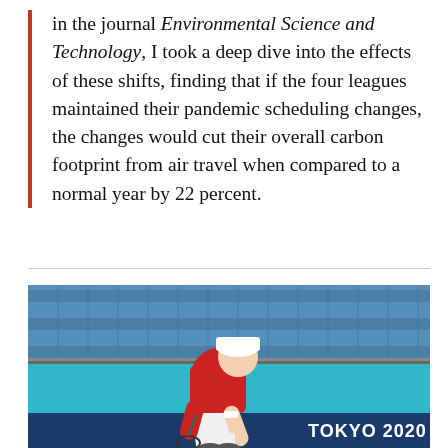in the journal Environmental Science and Technology, I took a deep dive into the effects of these shifts, finding that if the four leagues maintained their pandemic scheduling changes, the changes would cut their overall carbon footprint from air travel when compared to a normal year by 22 percent.
[Figure (photo): A tennis player wearing a red shirt and white shorts, bending over on a tennis court with blue stadium seats in the background. The Tokyo 2020 Olympics branding is visible in the bottom right corner.]